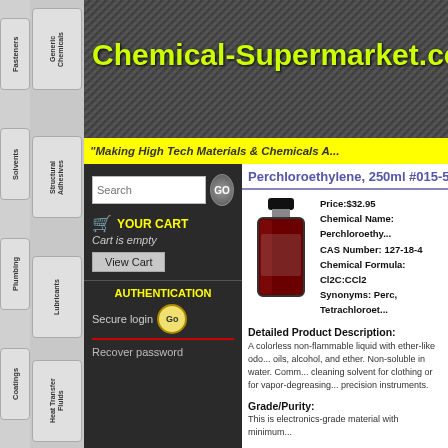Chemical-Supermarket.com
"Making High Tech Materials & Chemicals A..."
Perchloroethylene, 250ml #015-557
Price:$32.95
Chemical Name: Perchloroethylene
CAS Number: 127-18-4
Chemical Formula: Cl2C:CCl2
Synonyms: Perc, Tetrachloroethylene
[Figure (photo): Photo of a dark red/brown liquid in a clear glass bottle with black cap]
Detailed Product Description:
A colorless non-flammable liquid with ether-like odor. Miscible with oils, alcohol, and ether. Non-soluble in water. Commonly used as a cleaning solvent for clothing or for vapor-degreasing of metals and precision instruments.
Grade/Purity:
This is electronics-grade material with minimum...